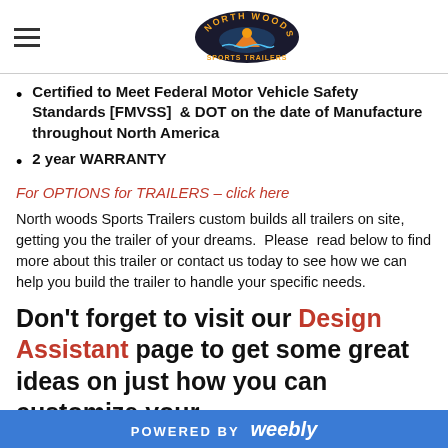North Woods Sports Trailers logo and navigation
Certified to Meet Federal Motor Vehicle Safety Standards [FMVSS]  & DOT on the date of Manufacture throughout North America
2 year WARRANTY
For OPTIONS for TRAILERS – click here
North woods Sports Trailers custom builds all trailers on site, getting you the trailer of your dreams.  Please  read below to find more about this trailer or contact us today to see how we can help you build the trailer to handle your specific needs.
Don't forget to visit our Design Assistant page to get some great ideas on just how you can customize your
POWERED BY weebly